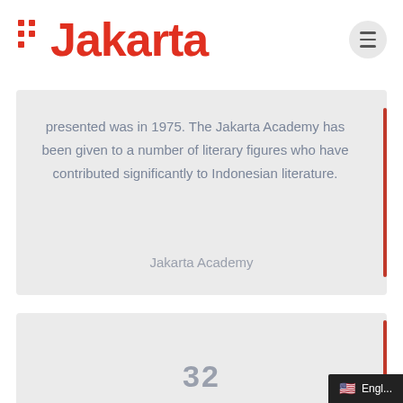Jakarta
presented was in 1975. The Jakarta Academy has been given to a number of literary figures who have contributed significantly to Indonesian literature.
Jakarta Academy
32
Engl...